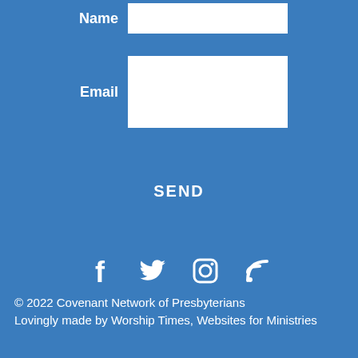Name [input field]
Email [input field]
SEND
[Figure (infographic): Social media icons: Facebook, Twitter, Instagram, RSS feed]
© 2022 Covenant Network of Presbyterians
Lovingly made by Worship Times, Websites for Ministries